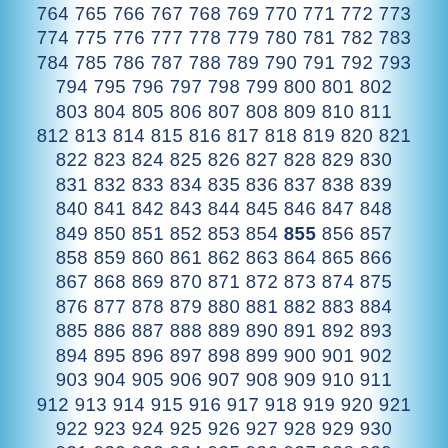764 765 766 767 768 769 770 771 772 773 774 775 776 777 778 779 780 781 782 783 784 785 786 787 788 789 790 791 792 793 794 795 796 797 798 799 800 801 802 803 804 805 806 807 808 809 810 811 812 813 814 815 816 817 818 819 820 821 822 823 824 825 826 827 828 829 830 831 832 833 834 835 836 837 838 839 840 841 842 843 844 845 846 847 848 849 850 851 852 853 854 855 856 857 858 859 860 861 862 863 864 865 866 867 868 869 870 871 872 873 874 875 876 877 878 879 880 881 882 883 884 885 886 887 888 889 890 891 892 893 894 895 896 897 898 899 900 901 902 903 904 905 906 907 908 909 910 911 912 913 914 915 916 917 918 919 920 921 922 923 924 925 926 927 928 929 930 931 932 933 934 935 936 937 938 939 940 941 942 943 944 945 946 947 948 949 950 951 952 953 954 955 956 957 958 959 960 961 962 963 964 965 966